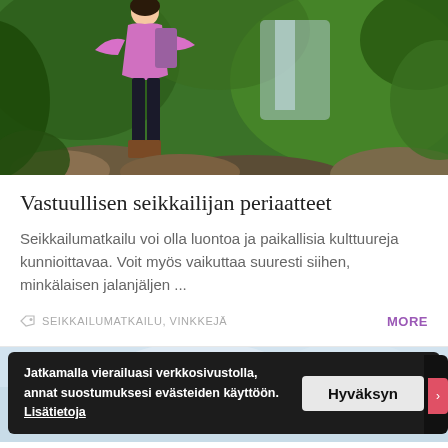[Figure (photo): Person hiking in lush green jungle/forest with waterfall in background, wearing pink top and dark pants, standing on rocks]
Vastuullisen seikkailijan periaatteet
Seikkailumatkailu voi olla luontoa ja paikallisia kulttuureja kunnioittavaa. Voit myös vaikuttaa suuresti siihen, minkälaisen jalanjäljen ...
SEIKKAILUMATKAILU, VINKKEJÄ
MORE
[Figure (screenshot): Bottom section showing blue sky background with cookie consent banner overlay]
Jatkamalla vierailuasi verkkosivustolla, annat suostumuksesi evästeiden käyttöön. Lisätietoja
Hyväksyn